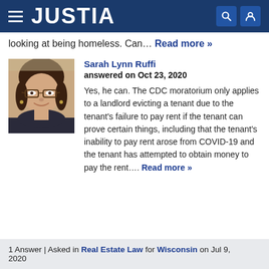JUSTIA
looking at being homeless. Can… Read more »
Sarah Lynn Ruffi
answered on Oct 23, 2020
[Figure (photo): Headshot photo of attorney Sarah Lynn Ruffi, a woman with glasses and dark hair, smiling]
Yes, he can. The CDC moratorium only applies to a landlord evicting a tenant due to the tenant's failure to pay rent if the tenant can prove certain things, including that the tenant's inability to pay rent arose from COVID-19 and the tenant has attempted to obtain money to pay the rent.... Read more »
1 Answer | Asked in Real Estate Law for Wisconsin on Jul 9, 2020